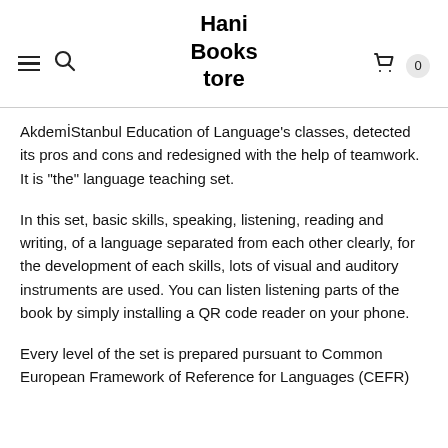Hani Bookstore
AkdemIstanbul Education of Language’s classes, detected its pros and cons and redesigned with the help of teamwork. It is “the” language teaching set.
In this set, basic skills, speaking, listening, reading and writing, of a language separated from each other clearly, for the development of each skills, lots of visual and auditory instruments are used. You can listen listening parts of the book by simply installing a QR code reader on your phone.
Every level of the set is prepared pursuant to Common European Framework of Reference for Languages (CEFR)